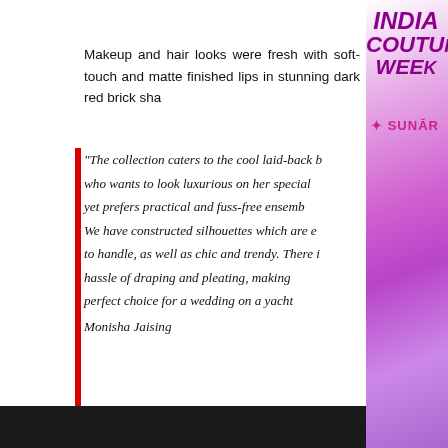[Figure (other): India Couture Week logo/banner with pink-purple gradient background and SUNAR branding on the right side panel]
Makeup and hair looks were fresh with soft-touch and matte finished lips in stunning dark red brick sha[des]
“The collection caters to the cool laid-back b[ride] who wants to look luxurious on her special [day] yet prefers practical and fuss-free ensemb[les]. We have constructed silhouettes which are e[asy] to handle, as well as chic and trendy. There i[s no] hassle of draping and pleating, making [it the] perfect choice for a wedding on a yacht[”] Monisha Jaising
[Figure (photo): Dark photograph visible at the bottom of the page]